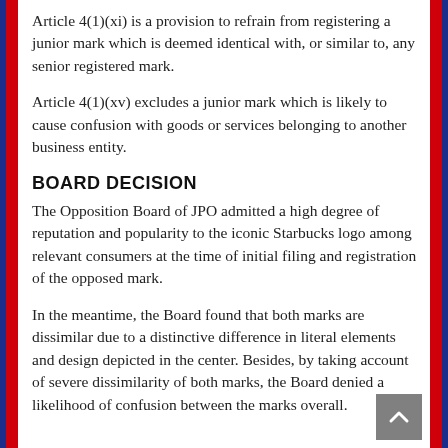Article 4(1)(xi) is a provision to refrain from registering a junior mark which is deemed identical with, or similar to, any senior registered mark.
Article 4(1)(xv) excludes a junior mark which is likely to cause confusion with goods or services belonging to another business entity.
BOARD DECISION
The Opposition Board of JPO admitted a high degree of reputation and popularity to the iconic Starbucks logo among relevant consumers at the time of initial filing and registration of the opposed mark.
In the meantime, the Board found that both marks are dissimilar due to a distinctive difference in literal elements and design depicted in the center. Besides, by taking account of severe dissimilarity of both marks, the Board denied a likelihood of confusion between the marks overall.